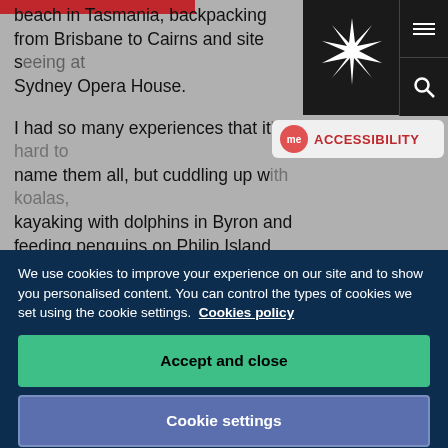beach in Tasmania, backpacking from Brisbane to Cairns and site seeing at Sydney Opera House.
I had so many experiences that it's hard to name them all, but cuddling up with koalas, kayaking with dolphins in Byron and feeding penguins on Philip Island will always stick in my mind. My favourite, though, was definitely skydiving over Whitehaven Beach. It was indescribable, something you'd have to try
We use cookies to improve your experience on our site and to show you personalised content. You can control the types of cookies we set using the cookie settings. Cookies policy
Accept and close
Cookie settings